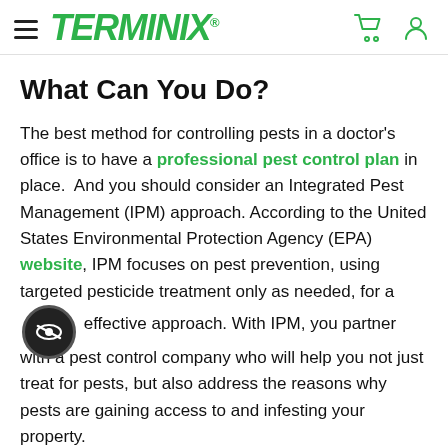TERMINIX (navigation header with hamburger menu, logo, cart icon, user icon)
What Can You Do?
The best method for controlling pests in a doctor's office is to have a professional pest control plan in place.  And you should consider an Integrated Pest Management (IPM) approach. According to the United States Environmental Protection Agency (EPA) website, IPM focuses on pest prevention, using targeted pesticide treatment only as needed, for a more effective approach. With IPM, you partner with a pest control company who will help you not just treat for pests, but also address the reasons why pests are gaining access to and infesting your property.